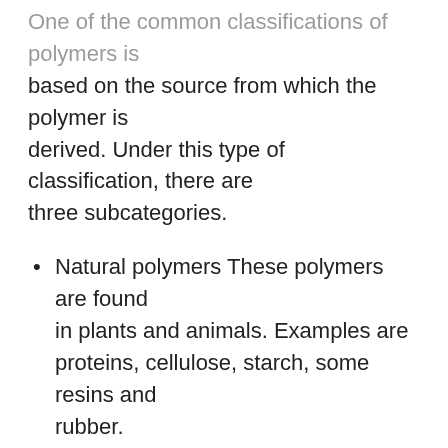One of the common classifications of polymers is based on the source from which the polymer is derived. Under this type of classification, there are three subcategories.
Natural polymers These polymers are found in plants and animals. Examples are proteins, cellulose, starch, some resins and rubber.
What are polymers?
There are two broad types of polymerization reactions, i.e., the addition of chain-growth polymerization and condensation or step-growth polymerization.
In this type of polymerization, the molecules of the